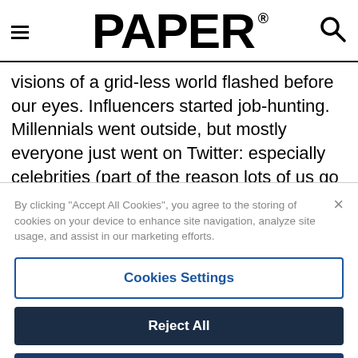PAPER®
visions of a grid-less world flashed before our eyes. Influencers started job-hunting. Millennials went outside, but mostly everyone just went on Twitter: especially celebrities (part of the reason lots of us go on Instagram in the first place). The world's been restored to order, but some people
By clicking "Accept All Cookies", you agree to the storing of cookies on your device to enhance site navigation, analyze site usage, and assist in our marketing efforts.
Cookies Settings
Reject All
Accept All Cookies